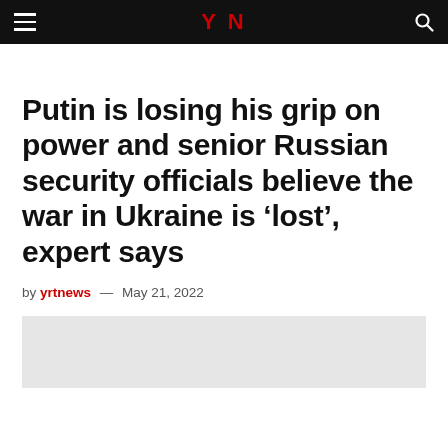YN (logo)
Putin is losing his grip on power and senior Russian security officials believe the war in Ukraine is ‘lost’, expert says
by yrtnews — May 21, 2022